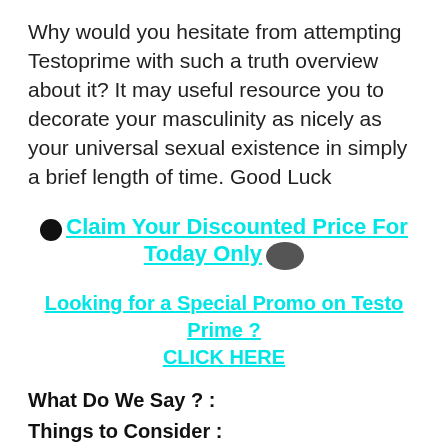Why would you hesitate from attempting Testoprime with such a truth overview about it? It may useful resource you to decorate your masculinity as nicely as your universal sexual existence in simply a brief length of time. Good Luck
Claim Your Discounted Price For Today Only
Looking for a Special Promo on Testo Prime ? CLICK HERE
What Do We Say ? :
Things to Consider :
Tips & Advice
Supplements should never be used in place of real